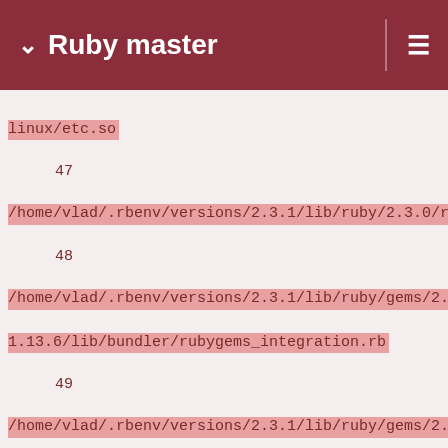Ruby master
linux/etc.so
     47
/home/vlad/.rbenv/versions/2.3.1/lib/ruby/2.3.0/ru
     48
/home/vlad/.rbenv/versions/2.3.1/lib/ruby/gems/2.3 1.13.6/lib/bundler/rubygems_integration.rb
     49
/home/vlad/.rbenv/versions/2.3.1/lib/ruby/gems/2.3 1.13.6/lib/bundler/current_ruby.rb
     50
/home/vlad/.rbenv/versions/2.3.1/lib/ruby/gems/2.3 1.13.6/lib/bundler/shared_helpers.rb
     51
/home/vlad/.rbenv/versions/2.3.1/lib/ruby/2.3.0/fi
     52
/home/vlad/.rbenv/versions/2.3.1/lib/ruby/gems/2.3 1.13.6/lib/bundler/errors.rb
     53
/home/vlad/.rbenv/versions/2.3.1/lib/ruby/gems/2.3 1.13.6/lib/bundler/environment_preserver.rb
     54
/home/vlad/.rbenv/versions/2.3.1/lib/ruby/2.3.0/x8 linux/socket.so
     55